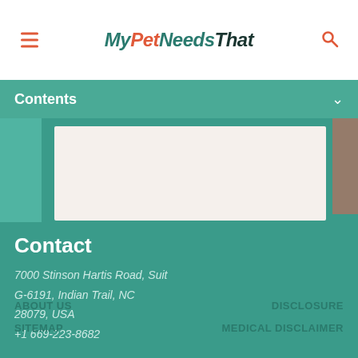MyPetNeedsThat
Contents
[Figure (other): White/cream content box on teal background with wave decoration]
Contact
7000 Stinson Hartis Road, Suit
G-6191, Indian Trail, NC
28079, USA
+1 669-223-8682
ABOUT US   DISCLOSURE   SITEMAP   MEDICAL DISCLAIMER